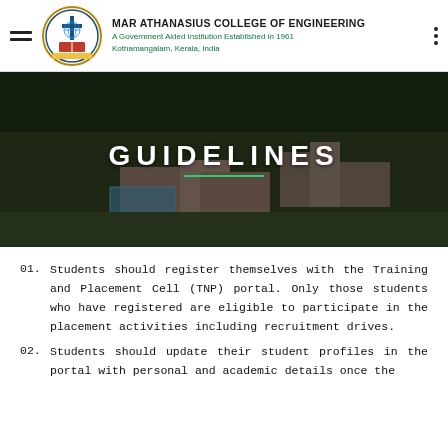MAR ATHANASIUS COLLEGE OF ENGINEERING
A Government Aided Institution Established in 1961
Kothamangalam, Kerala, India
[Figure (photo): Aerial view of Mar Athanasius College of Engineering campus surrounded by trees, with 'GUIDELINES' text overlay]
GUIDELINES
01. Students should register themselves with the Training and Placement Cell (TNP) portal. Only those students who have registered are eligible to participate in the placement activities including recruitment drives.
02. Students should update their student profiles in the portal with personal and academic details once the